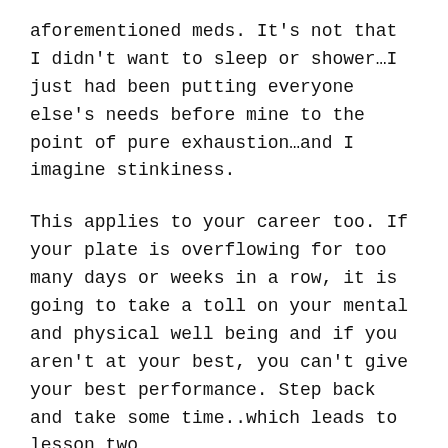aforementioned meds. It's not that I didn't want to sleep or shower…I just had been putting everyone else's needs before mine to the point of pure exhaustion…and I imagine stinkiness.
This applies to your career too. If your plate is overflowing for too many days or weeks in a row, it is going to take a toll on your mental and physical well being and if you aren't at your best, you can't give your best performance. Step back and take some time..which leads to lesson two…
LESSON 2: MAKE A LIST
Make a list of what YOU need and put it where you will see it, so you don't get buried under the needs of